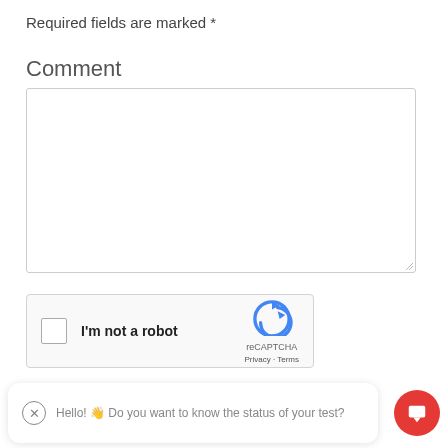Required fields are marked *
Comment
[Figure (screenshot): Empty comment textarea input box with resize handle]
[Figure (other): reCAPTCHA widget with checkbox labeled I'm not a robot and reCAPTCHA logo with Privacy and Terms links]
Hello! 👋 Do you want to know the status of your test?